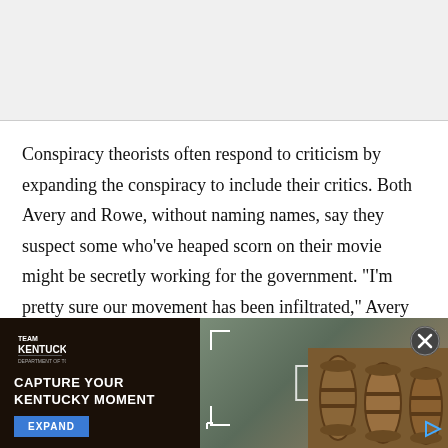Conspiracy theorists often respond to criticism by expanding the conspiracy to include their critics. Both Avery and Rowe, without naming names, say they suspect some who've heaped scorn on their movie might be secretly working for the government. "I'm pretty sure our movement has been infiltrated," Avery says. Rowe argues that "the government puts out
[Figure (infographic): Advertisement banner for Team Kentucky 'Capture Your Kentucky Moment' with an Expand button, showing outdoor/barrel imagery on the right side with camera frame overlay and a close (X) button.]